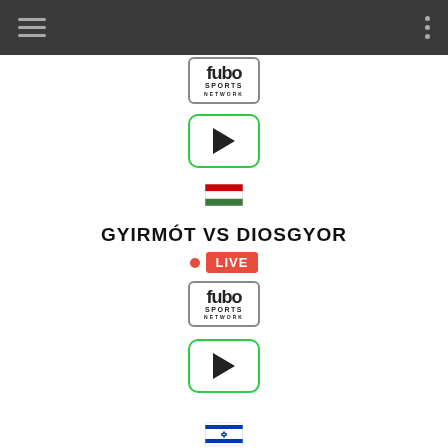Navigation bar with hamburger menu and dots menu
[Figure (logo): fubo Sports Network logo in a rounded rectangle border]
[Figure (other): Green-bordered play button (triangle)]
[Figure (other): Hungarian flag icon]
GYIRMÓT VS DIOSGYOR
LIVE
[Figure (logo): fubo Sports Network logo in a rounded rectangle border]
[Figure (other): Green-bordered play button (triangle)]
[Figure (other): Israeli flag icon]
HAPOEL RISHON LEZION VS AGUDAT
LIVE